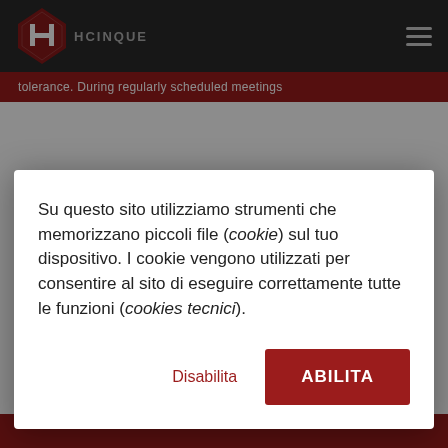[Figure (logo): HCinque logo with red diamond/H shape and text HCINQUE below]
tolerance. During regularly scheduled meetings
Su questo sito utilizziamo strumenti che memorizzano piccoli file (cookie) sul tuo dispositivo. I cookie vengono utilizzati per consentire al sito di eseguire correttamente tutte le funzioni (cookies tecnici).
Disabilita
ABILITA